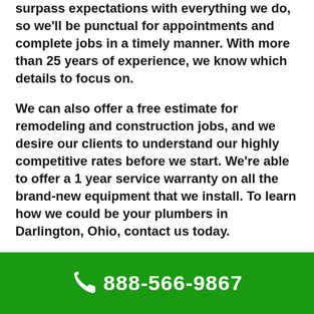surpass expectations with everything we do, so we'll be punctual for appointments and complete jobs in a timely manner. With more than 25 years of experience, we know which details to focus on.
We can also offer a free estimate for remodeling and construction jobs, and we desire our clients to understand our highly competitive rates before we start. We're able to offer a 1 year service warranty on all the brand-new equipment that we install. To learn how we could be your plumbers in Darlington, Ohio, contact us today.
To achieve long lasting results all plumbing services need to be completed with the diligence and commitment that only experienced specialists can provide. You can depend on the plumbers from Express Plumbing Services Darlington to be there when you require it most, servicing in Darlington,
888-566-9867